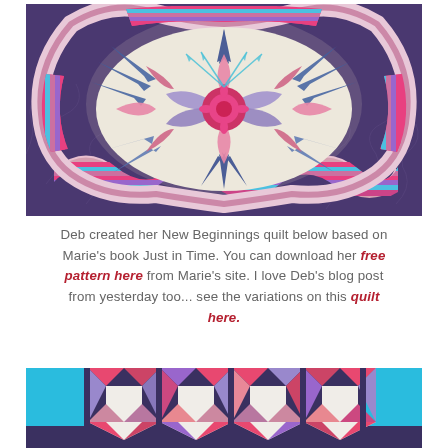[Figure (photo): Close-up photo of a decorative quilt with purple/navy background, cream center with butterfly/medallion design in pink and blue tones, feather-like spiky elements radiating from center, bordered by multi-colored strip piecing in pink, red, purple, and turquoise.]
Deb created her New Beginnings quilt below based on Marie's book Just in Time.  You can download her free pattern here from Marie's site.  I love Deb's blog post from yesterday too... see the variations on this quilt here.
[Figure (photo): Partial photo of a quilt with geometric star/pinwheel block pattern in white, pink, red, purple, and turquoise fabrics on a dark purple background, with solid turquoise corner squares visible.]